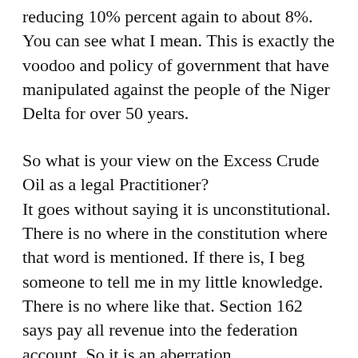reducing 10% percent again to about 8%. You can see what I mean. This is exactly the voodoo and policy of government that have manipulated against the people of the Niger Delta for over 50 years.
So what is your view on the Excess Crude Oil as a legal Practitioner?
It goes without saying it is unconstitutional. There is no where in the constitution where that word is mentioned. If there is, I beg someone to tell me in my little knowledge. There is no where like that. Section 162 says pay all revenue into the federation account. So it is an aberration.